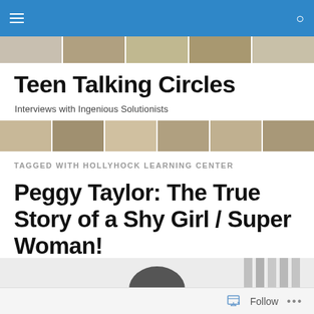Teen Talking Circles — navigation bar
[Figure (photo): Sepia-toned collage photo strip of faces, top banner]
Teen Talking Circles
Interviews with Ingenious Solutionists
[Figure (photo): Sepia-toned collage photo strip of faces, lower banner]
TAGGED WITH HOLLYHOCK LEARNING CENTER
Peggy Taylor: The True Story of a Shy Girl / Super Woman!
[Figure (photo): Black and white photo of a person, partially visible, with vertical blinds in background]
Follow